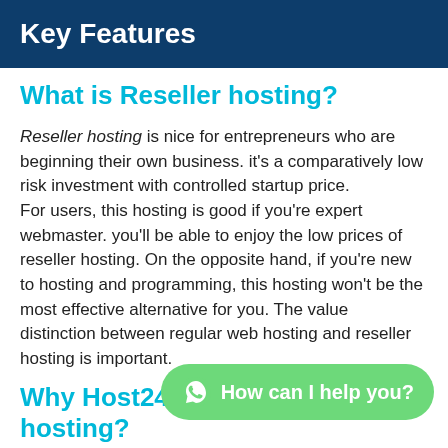Key Features
What is Reseller hosting?
Reseller hosting is nice for entrepreneurs who are beginning their own business. it's a comparatively low risk investment with controlled startup price.
For users, this hosting is good if you're expert webmaster. you'll be able to enjoy the low prices of reseller hosting. On the opposite hand, if you're new to hosting and programming, this hosting won't be the most effective alternative for you. The value distinction between regular web hosting and reseller hosting is important.
Why Host24 Reseller web hosting?